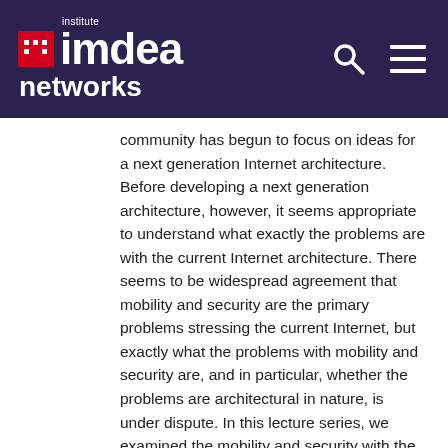institute imdea networks
community has begun to focus on ideas for a next generation Internet architecture. Before developing a next generation architecture, however, it seems appropriate to understand what exactly the problems are with the current Internet architecture. There seems to be widespread agreement that mobility and security are the primary problems stressing the current Internet, but exactly what the problems with mobility and security are, and in particular, whether the problems are architectural in nature, is under dispute. In this lecture series, we examined the mobility and security with the intention of understanding the current architecture and what might be done for a next generation architecture.
Read more →